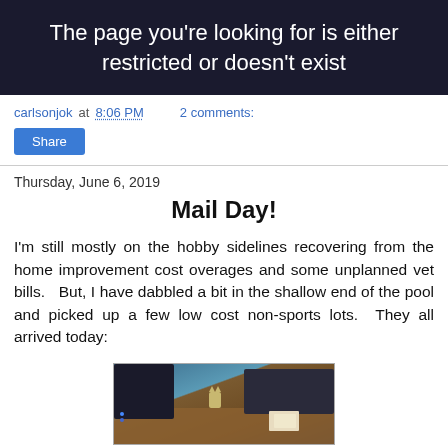[Figure (screenshot): Dark banner with white text reading 'The page you're looking for is either restricted or doesn't exist']
carlsonjok at 8:06 PM   2 comments:
Share
Thursday, June 6, 2019
Mail Day!
I'm still mostly on the hobby sidelines recovering from the home improvement cost overages and some unplanned vet bills.   But, I have dabbled a bit in the shallow end of the pool and picked up a few low cost non-sports lots.  They all arrived today:
[Figure (photo): Photo of a desk with a small figurine/cat toy, some cards or mail items, and blue electronic equipment in the background.]